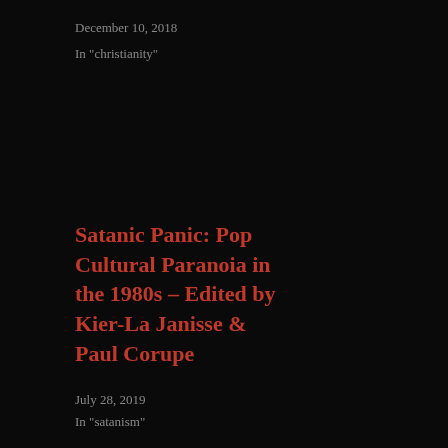December 10, 2018
In "christianity"
Edge
October 20, 2019
In "horror"
Satanic Panic: Pop Cultural Paranoia in the 1980s – Edited by Kier-La Janisse & Paul Corupe
July 28, 2019
In "satanism"